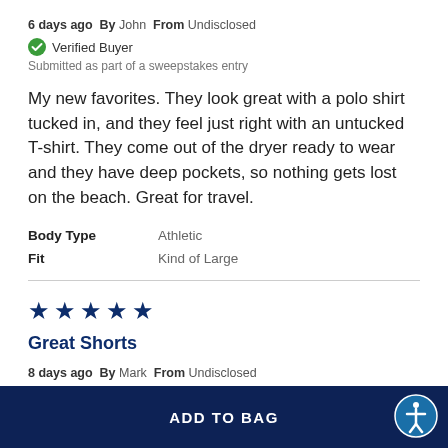6 days ago  By John  From Undisclosed
✓ Verified Buyer
Submitted as part of a sweepstakes entry
My new favorites. They look great with a polo shirt tucked in, and they feel just right with an untucked T-shirt. They come out of the dryer ready to wear and they have deep pockets, so nothing gets lost on the beach. Great for travel.
| Body Type | Athletic |
| Fit | Kind of Large |
[Figure (other): 5 filled dark navy star rating icons]
Great Shorts
8 days ago  By Mark  From Undisclosed
ADD TO BAG